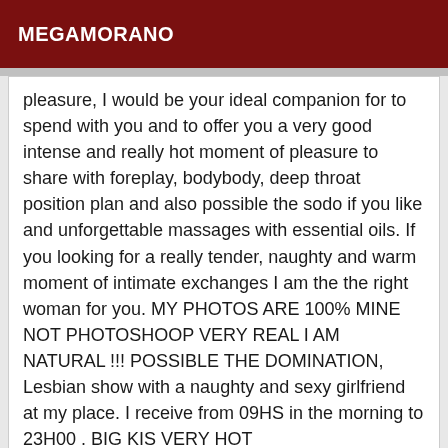MEGAMORANO
pleasure, I would be your ideal companion for to spend with you and to offer you a very good intense and really hot moment of pleasure to share with foreplay, bodybody, deep throat position plan and also possible the sodo if you like and unforgettable massages with essential oils. If you looking for a really tender, naughty and warm moment of intimate exchanges I am the the right woman for you. MY PHOTOS ARE 100% MINE NOT PHOTOSHOOP VERY REAL I AM NATURAL !!! POSSIBLE THE DOMINATION, Lesbian show with a naughty and sexy girlfriend at my place. I receive from 09HS in the morning to 23H00 . BIG KIS VERY HOT